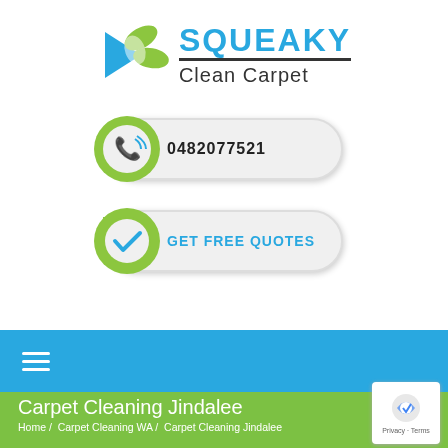[Figure (logo): Squeaky Clean Carpet logo with green and blue geometric leaf/triangle icon and company name]
[Figure (infographic): Phone button with green circular icon containing a blue telephone handset with signal waves, and phone number 0482077521]
[Figure (infographic): Get Free Quotes button with green circular icon containing a blue checkmark]
≡ (hamburger menu)
Carpet Cleaning Jindalee
Home / Carpet Cleaning WA / Carpet Cleaning Jindalee